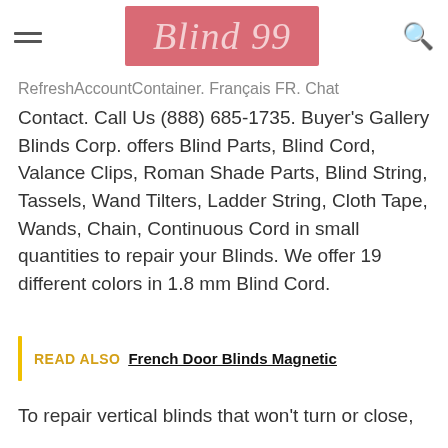Blind 99
RefreshAccountContainer. Français FR. Chat Contact. Call Us (888) 685-1735. Buyer's Gallery Blinds Corp. offers Blind Parts, Blind Cord, Valance Clips, Roman Shade Parts, Blind String, Tassels, Wand Tilters, Ladder String, Cloth Tape, Wands, Chain, Continuous Cord in small quantities to repair your Blinds. We offer 19 different colors in 1.8 mm Blind Cord.
READ ALSO  French Door Blinds Magnetic
To repair vertical blinds that won't turn or close,